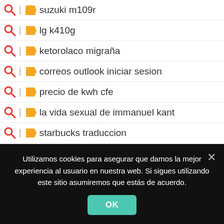suzuki m109r
lg k410g
ketorolaco migraña
correos outlook iniciar sesion
precio de kwh cfe
la vida sexual de immanuel kant
starbucks traduccion
fuker mate
suzuki swift seminuevo
deskjet ink advantage 4535
black ice becca fitzpatrick pdf
nike factory store coacalco
meslek
Utilizamos cookies para asegurar que damos la mejor experiencia al usuario en nuestra web. Si sigues utilizando este sitio asumiremos que estás de acuerdo.
OK